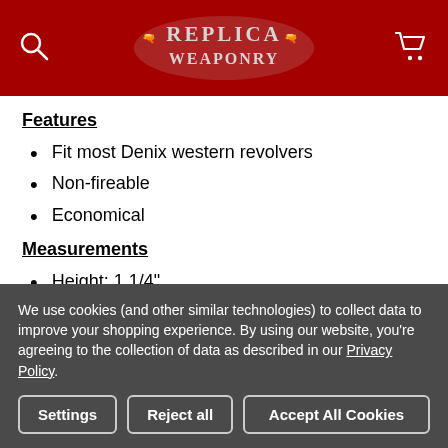Replica Weaponry [logo header with search and cart icons]
Features
Fit most Denix western revolvers
Non-fireable
Economical
Measurements
Height: 1 1/4"
Diameter near tip: 1/4"
We use cookies (and other similar technologies) to collect data to improve your shopping experience. By using our website, you're agreeing to the collection of data as described in our Privacy Policy.
Settings | Reject all | Accept All Cookies